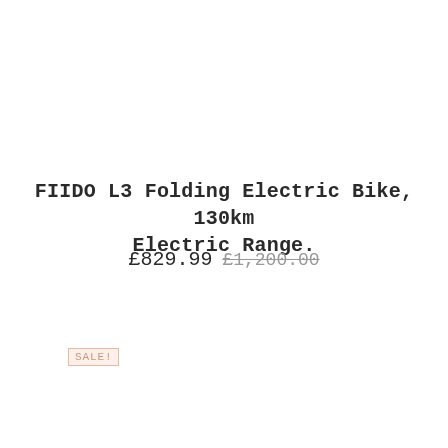FIIDO L3 Folding Electric Bike, 130km Electric Range.
£829.99  £1,200.00
SALE!